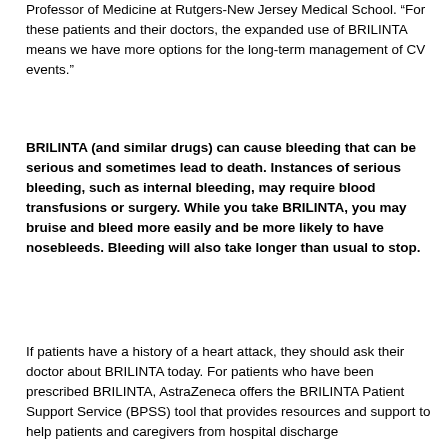Professor of Medicine at Rutgers-New Jersey Medical School. “For these patients and their doctors, the expanded use of BRILINTA means we have more options for the long-term management of CV events.”
BRILINTA (and similar drugs) can cause bleeding that can be serious and sometimes lead to death. Instances of serious bleeding, such as internal bleeding, may require blood transfusions or surgery. While you take BRILINTA, you may bruise and bleed more easily and be more likely to have nosebleeds. Bleeding will also take longer than usual to stop.
If patients have a history of a heart attack, they should ask their doctor about BRILINTA today. For patients who have been prescribed BRILINTA, AstraZeneca offers the BRILINTA Patient Support Service (BPSS) tool that provides resources and support to help patients and caregivers from hospital discharge